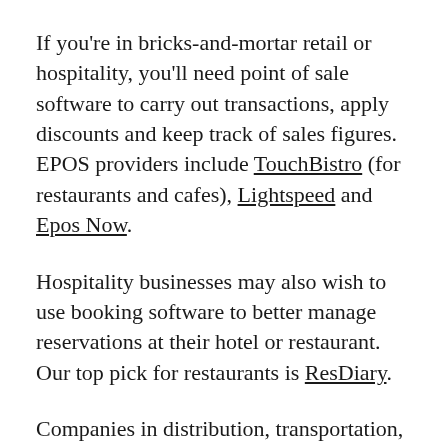If you're in bricks-and-mortar retail or hospitality, you'll need point of sale software to carry out transactions, apply discounts and keep track of sales figures. EPOS providers include TouchBistro (for restaurants and cafes), Lightspeed and Epos Now.
Hospitality businesses may also wish to use booking software to better manage reservations at their hotel or restaurant. Our top pick for restaurants is ResDiary.
Companies in distribution, transportation, construction, farming, healthcare and many other sectors are also likely to require specialist software.
You are viewing a partial line...